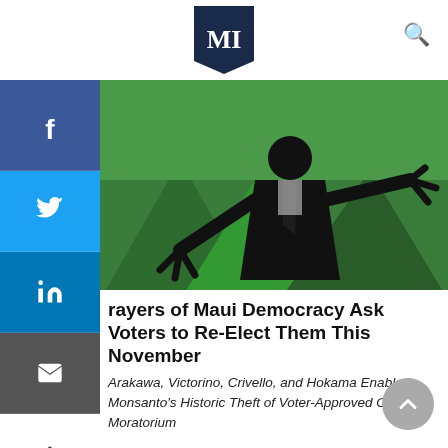[Figure (logo): MI logo in a dark badge with serif font]
[Figure (illustration): Political cartoon showing Monsanto as a dark figure manipulating politicians Arakawa, Victorino, Crivello with a blindfolded Lady Justice holding a 'CITIZEN-PASSED GMO MORATORIUM NULLIFIED' document, with headshots of Crivello, Victorino, and Arakawa overlaid on a green mountain background]
rayers of Maui Democracy Ask Voters to Re-Elect Them This November
Arakawa, Victorino, Crivello, and Hokama Enabled Monsanto's Historic Theft of Voter-Approved GMO Moratorium